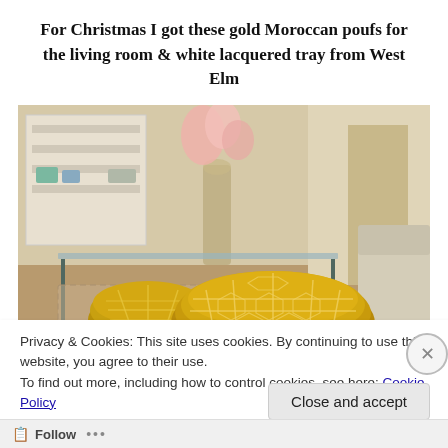For Christmas I got these gold Moroccan poufs for the living room & white lacquered tray from West Elm
[Figure (photo): A living room with two gold Moroccan leather poufs on a patterned rug in front of a glass coffee table. Pink flowers in a vase, a white bookshelf, and a beige sofa are visible in the background.]
Privacy & Cookies: This site uses cookies. By continuing to use this website, you agree to their use.
To find out more, including how to control cookies, see here: Cookie Policy
Close and accept
Follow ...